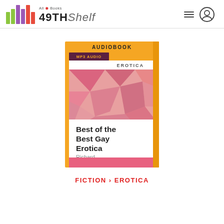[Figure (logo): 49th Shelf logo with colored vertical bars and text, All Books maple leaf tagline]
[Figure (photo): Audiobook cover for 'Best of the Best Gay Erotica' by Richard Labonte, orange border with pink geometric pattern, labels AUDIOBOOK, MP3 AUDIO, EROTICA]
FICTION › EROTICA